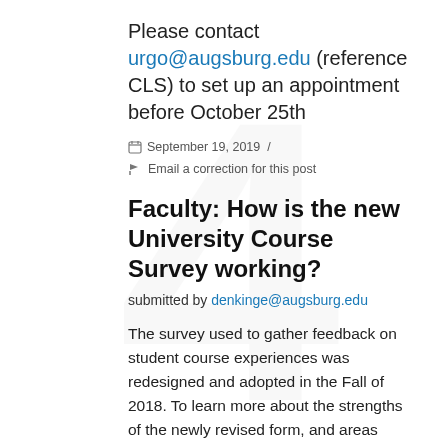Please contact urgo@augsburg.edu (reference CLS) to set up an appointment before October 25th
September 19, 2019 /
Email a correction for this post
Faculty: How is the new University Course Survey working?
submitted by denkinge@augsburg.edu
The survey used to gather feedback on student course experiences was redesigned and adopted in the Fall of 2018. To learn more about the strengths of the newly revised form, and areas where it could be improved, we ask faculty to complete this short questionnaire and reflect on the utility of the feedback that they have obtained using this new instrument. Please let us know your